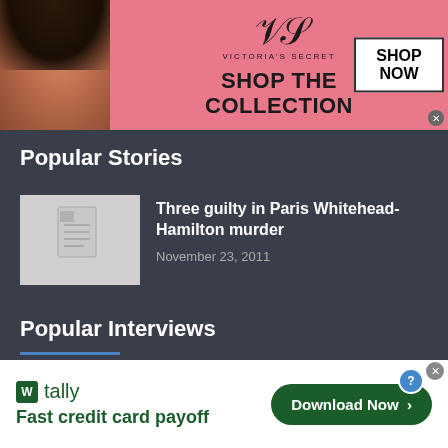[Figure (screenshot): Victoria's Secret advertisement banner with model photo, VS logo, 'SHOP THE COLLECTION' text, and 'SHOP NOW' button on pink background]
Popular Stories
[Figure (photo): Thumbnail placeholder image with document icon]
Three guilty in Paris Whitehead-Hamilton murder
November 23, 2011
Popular Interviews
[Figure (screenshot): Tally advertisement: 'Fast credit card payoff' with Download Now button]